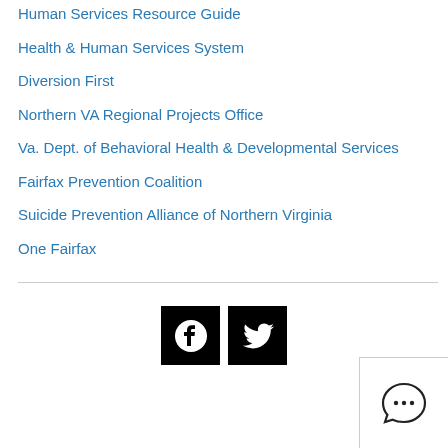Human Services Resource Guide
Health & Human Services System
Diversion First
Northern VA Regional Projects Office
Va. Dept. of Behavioral Health & Developmental Services
Fairfax Prevention Coalition
Suicide Prevention Alliance of Northern Virginia
One Fairfax
[Figure (illustration): Facebook and Twitter social media icons (black square backgrounds with white logos)]
[Figure (illustration): Chat bubble icon with three dots, bottom-right corner widget]